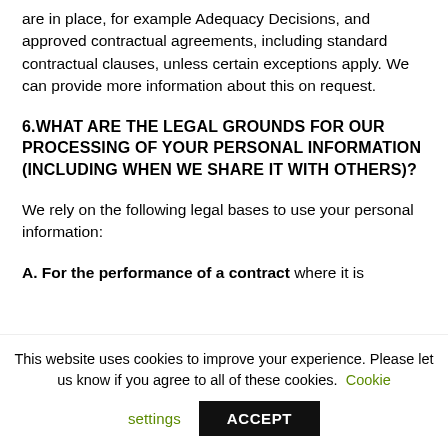are in place, for example Adequacy Decisions, and approved contractual agreements, including standard contractual clauses, unless certain exceptions apply. We can provide more information about this on request.
6. WHAT ARE THE LEGAL GROUNDS FOR OUR PROCESSING OF YOUR PERSONAL INFORMATION (INCLUDING WHEN WE SHARE IT WITH OTHERS)?
We rely on the following legal bases to use your personal information:
A. For the performance of a contract where it is
This website uses cookies to improve your experience. Please let us know if you agree to all of these cookies. Cookie settings ACCEPT